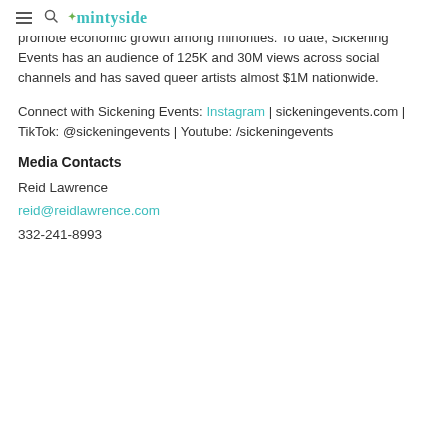mintyside (logo with hamburger and search icons)
available to the LGBTQIA and artist community at accessible rates to promote economic growth among minorities. To date, Sickening Events has an audience of 125K and 30M views across social channels and has saved queer artists almost $1M nationwide.
Connect with Sickening Events: Instagram | sickeningevents.com | TikTok: @sickeningevents | Youtube: /sickeningevents
Media Contacts
Reid Lawrence
reid@reidlawrence.com
332-241-8993